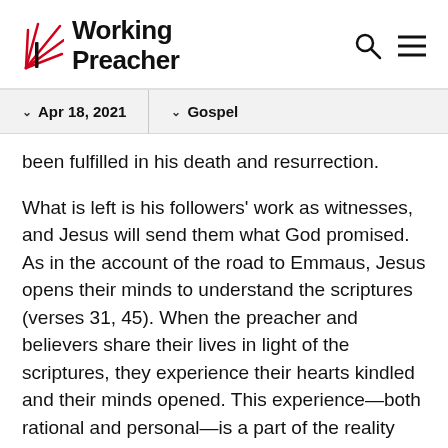Working Preacher
Apr 18, 2021  |  Gospel
been fulfilled in his death and resurrection.
What is left is his followers' work as witnesses, and Jesus will send them what God promised. As in the account of the road to Emmaus, Jesus opens their minds to understand the scriptures (verses 31, 45). When the preacher and believers share their lives in light of the scriptures, they experience their hearts kindled and their minds opened. This experience—both rational and personal—is a part of the reality the resurrection brings. The believers are not